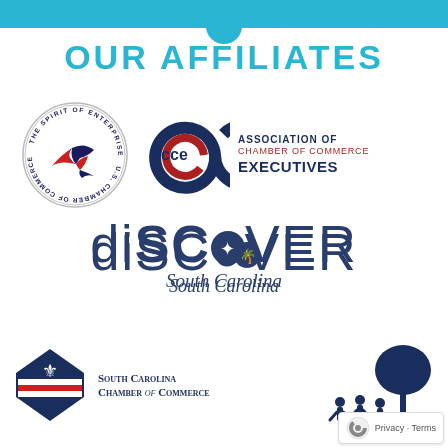OUR AFFILIATES
[Figure (logo): U.S. Chamber of Commerce circular logo with eagle and 'The Spirit of Enterprise' text]
[Figure (logo): ACCE - Association of Chamber of Commerce Executives logo with circular C design]
[Figure (logo): Discover South Carolina logo with large stylized text and palmetto tree]
[Figure (logo): South Carolina Chamber of Commerce diamond/shield logo with flag design]
[Figure (logo): Silhouette illustration of children playing outdoors near a tree]
Privacy · Terms